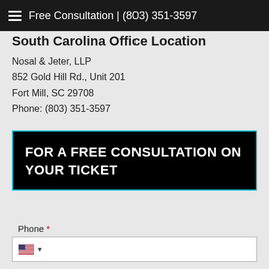Free Consultation | (803) 351-3597
South Carolina Office Location
Nosal & Jeter, LLP
852 Gold Hill Rd., Unit 201
Fort Mill, SC 29708
Phone: (803) 351-3597
FOR A FREE CONSULTATION ON YOUR TICKET
Phone *
Email *
Upload your ticket *